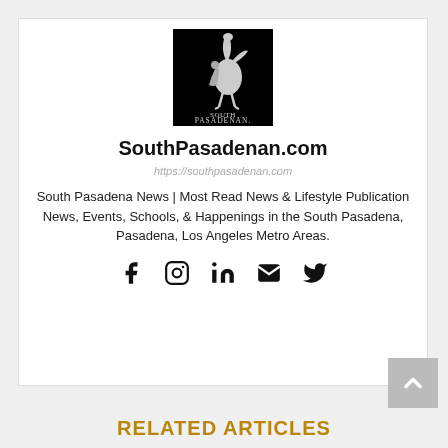[Figure (logo): South Pasadenan logo: black square with a figure riding/standing with an ostrich and text 'SOUTH PASADENAN' at the bottom]
SouthPasadenan.com
https://southpasadenan.com
South Pasadena News | Most Read News & Lifestyle Publication News, Events, Schools, & Happenings in the South Pasadena, Pasadena, Los Angeles Metro Areas.
[Figure (illustration): Social media icons: Facebook, Instagram, LinkedIn, Email, Twitter]
RELATED ARTICLES